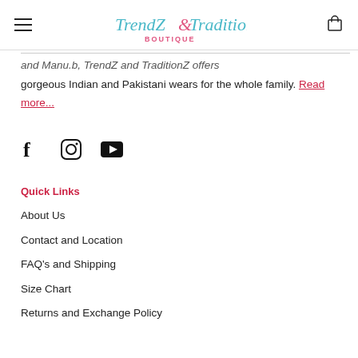TrendZ&TraditionZ BOUTIQUE
and Manu.b, TrendZ and TraditionZ offers gorgeous Indian and Pakistani wears for the whole family. Read more...
[Figure (illustration): Social media icons: Facebook (f), Instagram (circle with camera), YouTube (play button)]
Quick Links
About Us
Contact and Location
FAQ's and Shipping
Size Chart
Returns and Exchange Policy